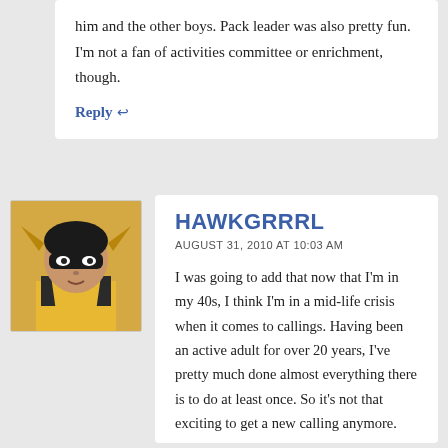him and the other boys. Pack leader was also pretty fun. I'm not a fan of activities committee or enrichment, though.
Reply ↩
[Figure (illustration): Avatar image of a stylized animated female superhero character resembling Hawkgirl with a yellow costume and black mask]
HAWKGRRRL
AUGUST 31, 2010 AT 10:03 AM
I was going to add that now that I'm in my 40s, I think I'm in a mid-life crisis when it comes to callings. Having been an active adult for over 20 years, I've pretty much done almost everything there is to do at least once. So it's not that exciting to get a new calling anymore.
I forgot my absolute worst – Camp Director. But I would have enjoyed that if my daughter had been